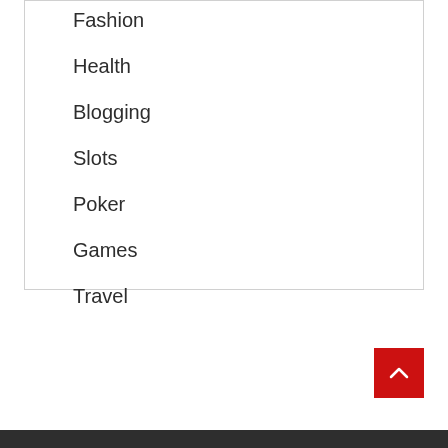Fashion
Health
Blogging
Slots
Poker
Games
Travel